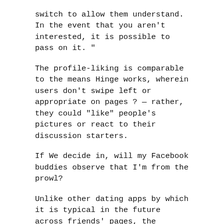switch to allow them understand. In the event that you aren't interested, it is possible to pass on it. "
The profile-liking is comparable to the means Hinge works, wherein users don't swipe left or appropriate on pages ? — rather, they could "like" people's pictures or react to their discussion starters.
If We decide in, will my Facebook buddies observe that I'm from the prowl?
Unlike other dating apps by which it is typical in the future across friends' pages, the business claims present Facebook friends will maybe not appear as prospective paramours. Wired magazine highlights that this feature might be helpful to LGBTQ those who have not turn out. Dating profiles will nevertheless record any shared friends you share with someone.
Because Twitter is such a comprehensive social networking, also an attribute like Dating that's "private" may well not